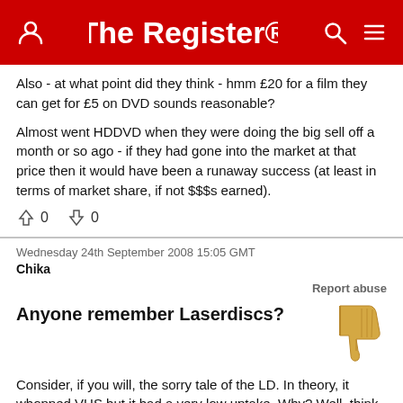The Register
Also - at what point did they think - hmm £20 for a film they can get for £5 on DVD sounds reasonable?

Almost went HDDVD when they were doing the big sell off a month or so ago - if they had gone into the market at that price then it would have been a runaway success (at least in terms of market share, if not $$$s earned).
↑0  ↓0
Wednesday 24th September 2008 15:05 GMT
Chika
Report abuse
Anyone remember Laserdiscs?
Consider, if you will, the sorry tale of the LD. In theory, it whopped VHS but it had a very low uptake. Why? Well, think about what VHS gave us back then. OK, it was lower quality but it was recordable, it had